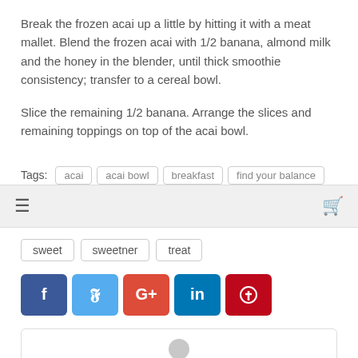Break the frozen acai up a little by hitting it with a meat mallet. Blend the frozen acai with 1/2 banana, almond milk and the honey in the blender, until thick smoothie consistency; transfer to a cereal bowl.
Slice the remaining 1/2 banana. Arrange the slices and remaining toppings on top of the acai bowl.
Tags: acai | acai bowl | breakfast | find your balance
sweet | sweetner | treat
[Figure (infographic): Social share buttons: Facebook (blue), Twitter (light blue), Google+ (red), LinkedIn (dark blue), Pinterest (dark red)]
[Figure (photo): Author avatar placeholder (grey silhouette)]